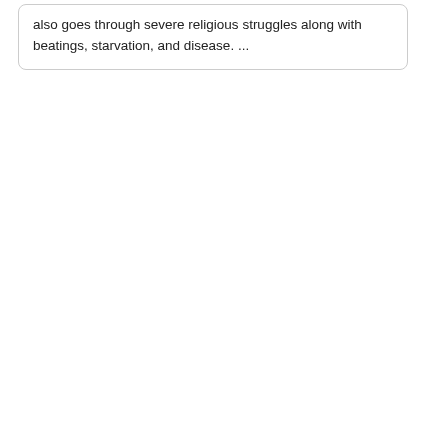also goes through severe religious struggles along with beatings, starvation, and disease. ...